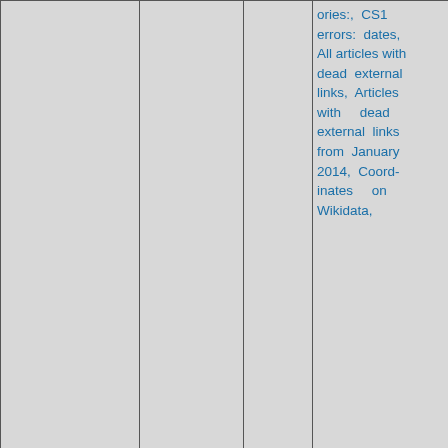|  |  |  | Categories | Photo |
| --- | --- | --- | --- | --- |
|  |  |  | ories:, CS1 errors: dates, All articles with dead external links, Articles with dead external links from January 2014, Coordinates on Wikidata, | (photo) |
| 84: 7mi [icons] | Miami Coral Park High School | [link icon] | Educational institutions established in 1963, Miami-Dade County Public Schools, High schools in Miami-Dade County, Public high schools in Florida, 1963 establishments in Florida, Hidden categories:, Wikipedia... |  |